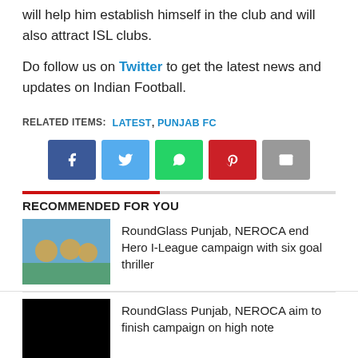will help him establish himself in the club and will also attract ISL clubs.
Do follow us on Twitter to get the latest news and updates on Indian Football.
RELATED ITEMS: LATEST, PUNJAB FC
[Figure (infographic): Social sharing buttons: Facebook (blue), Twitter (light blue), WhatsApp (green), Pinterest (red), Email (grey)]
RECOMMENDED FOR YOU
RoundGlass Punjab, NEROCA end Hero I-League campaign with six goal thriller
RoundGlass Punjab, NEROCA aim to finish campaign on high note